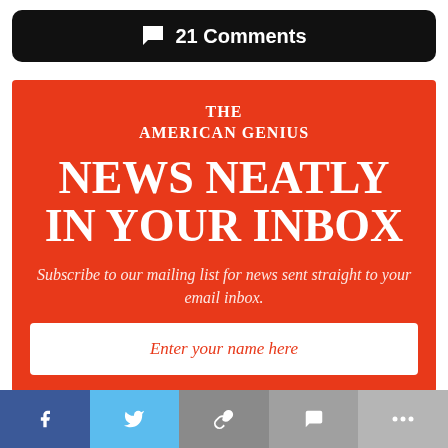💬 21 Comments
THE AMERICAN GENIUS
NEWS NEATLY IN YOUR INBOX
Subscribe to our mailing list for news sent straight to your email inbox.
Enter your name here
f  [twitter]  [link]  [chat]  ...